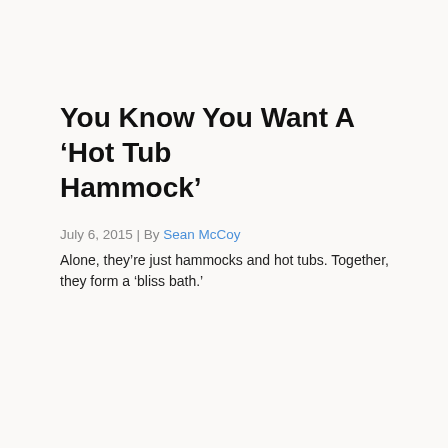You Know You Want A ‘Hot Tub Hammock’
July 6, 2015 | By Sean McCoy
Alone, they’re just hammocks and hot tubs. Together, they form a ‘bliss bath.’